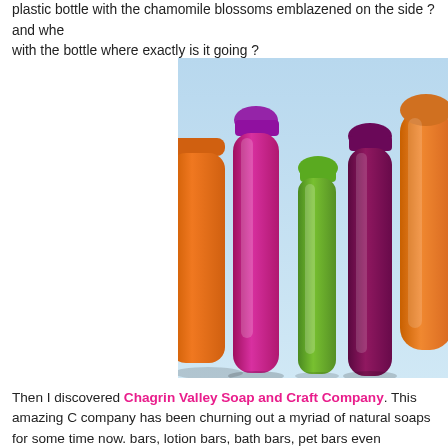plastic bottle with the chamomile blossoms emblazened on the side ? and whe with the bottle where exactly is it going ?
[Figure (photo): Several colorful plastic shampoo/conditioner bottles (orange, pink/purple, green, dark purple, orange) standing upright against a light blue sky background]
Then I discovered Chagrin Valley Soap and Craft Company. This amazing C company has been churning out a myriad of natural soaps for some time now. bars, lotion bars, bath bars, pet bars even shampoo bars. Every soap is made only all natural herbs, flowers, oils and coconut milk.